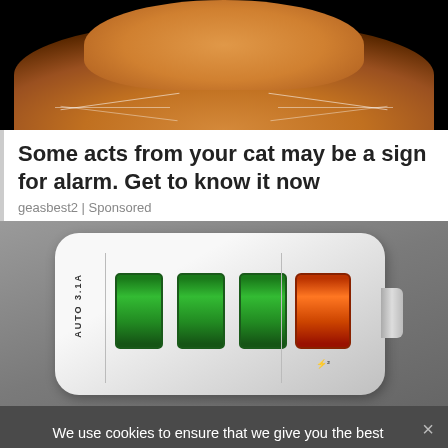[Figure (photo): Close-up photo of an orange/ginger cat's face from below, showing whiskers and fur, with dark background]
Some acts from your cat may be a sign for alarm. Get to know it now
geasbest2 | Sponsored
[Figure (photo): Photo of a white USB multi-port charger with 4 USB ports (3 green, 1 orange/red), labeled AUTO 3.1A, on a grey background]
We use cookies to ensure that we give you the best experience on our website. If you continue to use this site we will assume that you are happy with it.